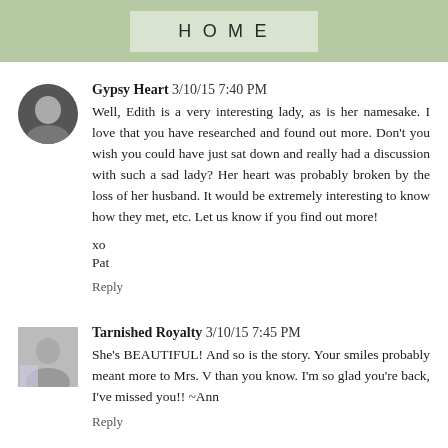HOME
Gypsy Heart  3/10/15 7:40 PM

Well, Edith is a very interesting lady, as is her namesake. I love that you have researched and found out more. Don't you wish you could have just sat down and really had a discussion with such a sad lady? Her heart was probably broken by the loss of her husband. It would be extremely interesting to know how they met, etc. Let us know if you find out more!

xo
Pat

Reply
Tarnished Royalty  3/10/15 7:45 PM

She's BEAUTIFUL! And so is the story. Your smiles probably meant more to Mrs. V than you know. I'm so glad you're back, I've missed you!! ~Ann

Reply